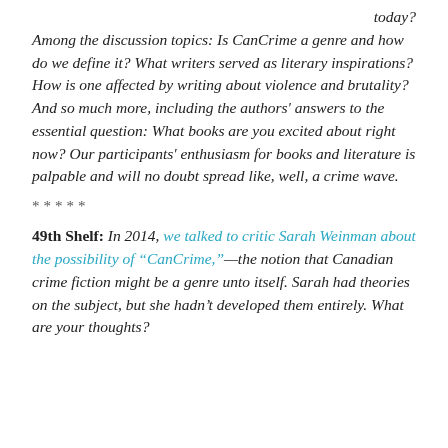today? Among the discussion topics: Is CanCrime a genre and how do we define it? What writers served as literary inspirations? How is one affected by writing about violence and brutality? And so much more, including the authors' answers to the essential question: What books are you excited about right now? Our participants' enthusiasm for books and literature is palpable and will no doubt spread like, well, a crime wave.
*****
49th Shelf: In 2014, we talked to critic Sarah Weinman about the possibility of "CanCrime,"—the notion that Canadian crime fiction might be a genre unto itself. Sarah had theories on the subject, but she hadn't developed them entirely. What are your thoughts?